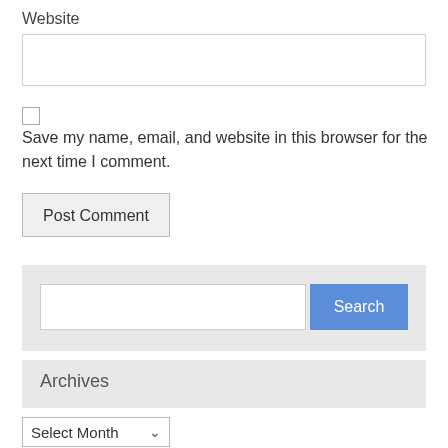Website
[Figure (screenshot): Text input field for website URL, empty]
[Figure (screenshot): Unchecked checkbox]
Save my name, email, and website in this browser for the next time I comment.
[Figure (screenshot): Post Comment button]
[Figure (screenshot): Search bar with text input and blue Search button]
Archives
[Figure (screenshot): Select Month dropdown]